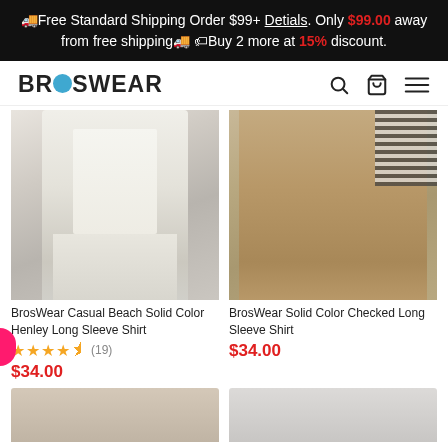🚚Free Standard Shipping Order $99+ Detials. Only $99.00 away from free shipping🚚 🏷Buy 2 more at 15% discount.
[Figure (logo): BrosWear logo with teal O letter]
[Figure (photo): Man wearing white casual beach solid color Henley long sleeve shirt]
BrosWear Casual Beach Solid Color Henley Long Sleeve Shirt
★★★★½ (19)
$34.00
[Figure (photo): Man wearing solid color checked long sleeve shirt in khaki/tan]
BrosWear Solid Color Checked Long Sleeve Shirt
$34.00
[Figure (photo): Partial bottom row product images]
[Figure (photo): Partial bottom row product image right]